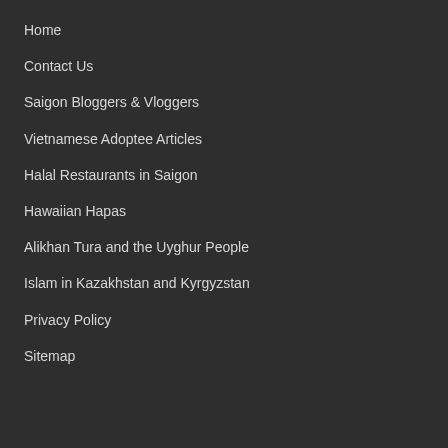Home
Contact Us
Saigon Bloggers & Vloggers
Vietnamese Adoptee Articles
Halal Restaurants in Saigon
Hawaiian Hapas
Alikhan Tura and the Uyghur People
Islam in Kazakhstan and Kyrgyzstan
Privacy Policy
Sitemap